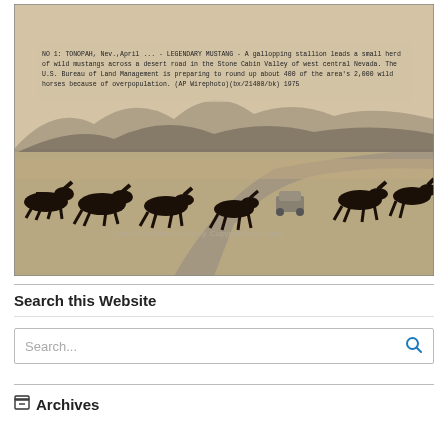[Figure (photo): Black and white vintage photograph of wild mustang horses galloping across a desert road in Stone Cabin Valley, west central Nevada. A car is visible on the road. Caption text overlaid at top reads: 'NO 1: TONOPAH, Nev.,April ... - LEGENDARY MUSTANG - A gallopping stallion leads a small herd of wild mustangs across a desert road in the Stone Cabin Valley of west central Nevada. The U.S. Bureau of Land Management is preparing to round up about 400 of the area's 2,000 wild horses because of overpopulation. (AP Wirephoto)(bx/21400/bk) 1975'. Watermark text at bottom of photo.]
Search this Website
Search...
Archives